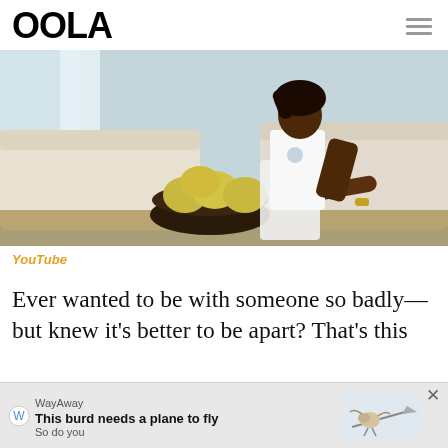OOLA
[Figure (photo): A woman in a white outfit sitting near a cream-colored sofa with a dark bowl of yellow-green fruit in the foreground, in a bright modern interior.]
YouTube
Ever wanted to be with someone so badly—but knew it's better to be apart? That's this
[Figure (other): WayAway advertisement banner: 'This burd needs a plane to fly / So do you' with an illustration of a bird with a plane.]